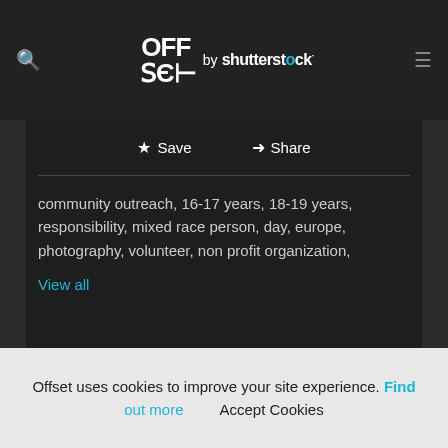OFFSET by shutterstock
★ Save  ➤ Share
community outreach, 16-17 years, 18-19 years, responsibility, mixed race person, day, europe, photography, volunteer, non profit organization,
View all
Similar images
Offset uses cookies to improve your site experience. Find out more Accept Cookies